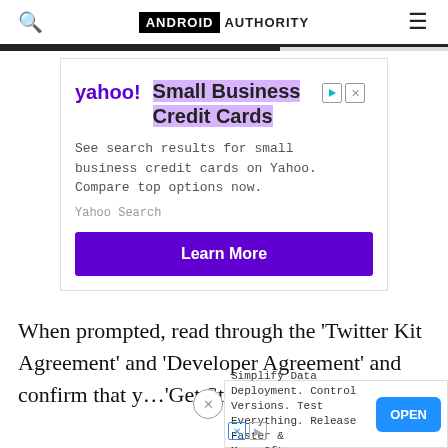ANDROID AUTHORITY
[Figure (infographic): Yahoo Small Business Credit Cards advertisement with 'Learn More' button]
When prompted, read through the ‘Twitter Kit Agreement’ and ‘Developer Agreement’ and confirm that y… ‘Get Started.’
[Figure (infographic): Bottom banner ad: Simplify Data Deployment. Control Versions. Test Everything. Release Faster & More Often. OPEN button.]